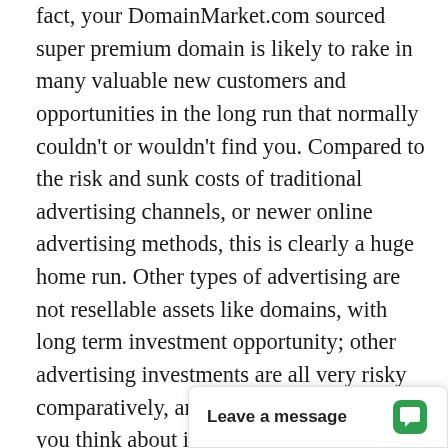fact, your DomainMarket.com sourced super premium domain is likely to rake in many valuable new customers and opportunities in the long run that normally couldn't or wouldn't find you. Compared to the risk and sunk costs of traditional advertising channels, or newer online advertising methods, this is clearly a huge home run. Other types of advertising are not resellable assets like domains, with long term investment opportunity; other advertising investments are all very risky comparatively, and are mostly wasted if you think about it.
First come, first served. Don't miss this once in a lifetime opportunity to be #1. The first person or company to secure aseantv.com from this site can control it forever, to the exclusion of all others. It will become out of our co[ntrol...] first in Google! All tha[...]
[Figure (screenshot): Chat widget overlay at bottom right with text 'Leave a message' and a green speech bubble icon]